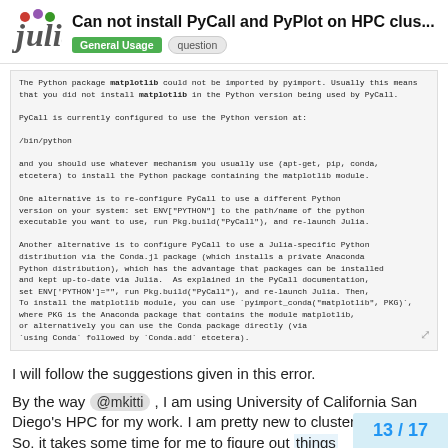Can not install PyCall and PyPlot on HPC clus... — General Usage / question
[Figure (logo): Julia programming language logo]
The Python package matplotlib could not be imported by pyimport. Usually this means that you did not install matplotlib in the Python version being used by PyCall.

PyCall is currently configured to use the Python version at:

/bin/python

and you should use whatever mechanism you usually use (apt-get, pip, conda, etcetera) to install the Python package containing the matplotlib module.

One alternative is to re-configure PyCall to use a different Python version on your system: set ENV["PYTHON"] to the path/name of the python executable you want to use, run Pkg.build("PyCall"), and re-launch Julia.

Another alternative is to configure PyCall to use a Julia-specific Python distribution via the Conda.jl package (which installs a private Anaconda Python distribution), which has the advantage that packages can be installed and kept up-to-date via Julia.  As explained in the PyCall documentation, set ENV['PYTHON']="", run Pkg.build("PyCall"), and re-launch Julia. Then, To install the matplotlib module, you can use `pyimport_conda("matplotlib", PKG)`, where PKG is the Anaconda package that contains the module matplotlib, or alternatively you can use the Conda package directly (via `using Conda` followed by `Conda.add` etcetera).
I will follow the suggestions given in this error.
By the way @mkitti , I am using University of California San Diego's HPC for my work. I am pretty new to cluster computing. So, it takes some time for me to figure out things
13 / 17